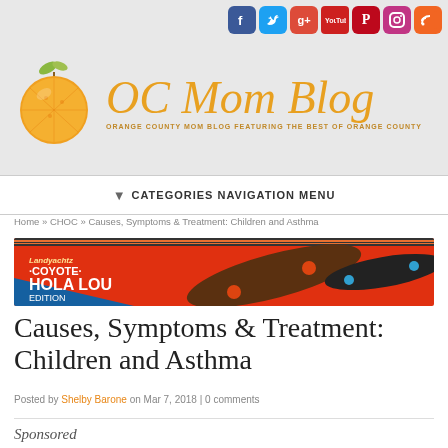[Figure (logo): OC Mom Blog logo with orange fruit graphic and cursive blog title text. Subtitle reads: ORANGE COUNTY MOM BLOG FEATURING THE BEST OF ORANGE COUNTY]
[Figure (infographic): Row of social media icons: Facebook, Twitter, Google+, YouTube, Pinterest, Instagram, RSS]
CATEGORIES NAVIGATION MENU
Home » CHOC » Causes, Symptoms & Treatment: Children and Asthma
[Figure (screenshot): Advertisement banner for Coyote Hola Lou Edition skateboard with orange/red background and skateboard images]
Causes, Symptoms & Treatment: Children and Asthma
Posted by Shelby Barone on Mar 7, 2018 | 0 comments
Sponsored